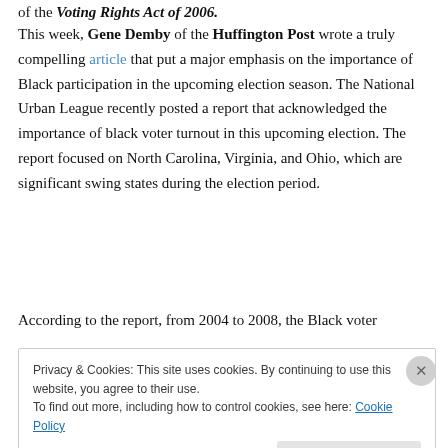of the Voting Rights Act of 2006.
This week, Gene Demby of the Huffington Post wrote a truly compelling article that put a major emphasis on the importance of Black participation in the upcoming election season. The National Urban League recently posted a report that acknowledged the importance of black voter turnout in this upcoming election. The report focused on North Carolina, Virginia, and Ohio, which are significant swing states during the election period.
According to the report, from 2004 to 2008, the Black voter
Privacy & Cookies: This site uses cookies. By continuing to use this website, you agree to their use.
To find out more, including how to control cookies, see here: Cookie Policy
Close and accept